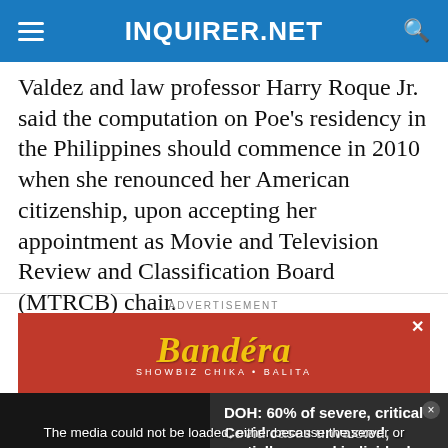INQUIRER.NET
Valdez and law professor Harry Roque Jr. said the computation on Poe's residency in the Philippines should commence in 2010 when she renounced her American citizenship, upon accepting her appointment as Movie and Television Review and Classification Board (MTRCB) chair.
ADVERTISEMENT
[Figure (illustration): Bandera advertisement banner with red background and yellow italic logo text reading 'Bandera' with subtitle 'SHOWBIZ CHIKA • BALITA']
[Figure (screenshot): Video player overlay showing media error message: 'The media could not be loaded, either because the server or network failed or because the format is not supported.' alongside a news thumbnail with text 'DOH: 60% OF SEVERE, CRITICAL COVID CASES UNVAXXED, PARTIALLY VAXXED INDIVIDUALS' and headline 'DOH: 60% of severe, critical Covid cases unvaxxed, partially vaxxed individuals']